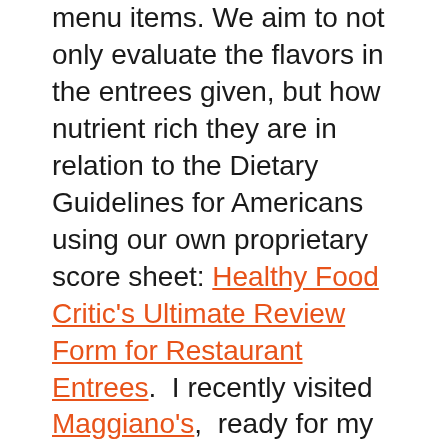menu items. We aim to not only evaluate the flavors in the entrees given, but how nutrient rich they are in relation to the Dietary Guidelines for Americans using our own proprietary score sheet: Healthy Food Critic's Ultimate Review Form for Restaurant Entrees.  I recently visited Maggiano's,  ready for my senses to be wowed.
For those not familiar with Maggiano's, it is an Italian chain restaurant that offers simple, authentic Italian dishes. While Maggiano's originated in Oak Brook, Illinois, with consumer favor, it has expanded nationally, with locations everywhere from California to Georgia to Massachusetts.  Recently, Maggiano's has advertised their "Lighter Take" menu options, promising that while portion sizes haven't been compromised, the chefs have utilized new cooking techniques to satisfy the "harshest critics." With